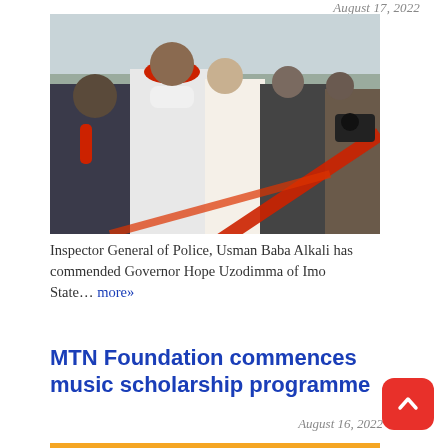August 17, 2022
[Figure (photo): Inspector General of Police Usman Baba Alkali and Governor Hope Uzodimma cutting a red ribbon at an official ceremony, surrounded by officials and media]
Inspector General of Police, Usman Baba Alkali has commended Governor Hope Uzodimma of Imo State… more»
MTN Foundation commences music scholarship programme
August 16, 2022